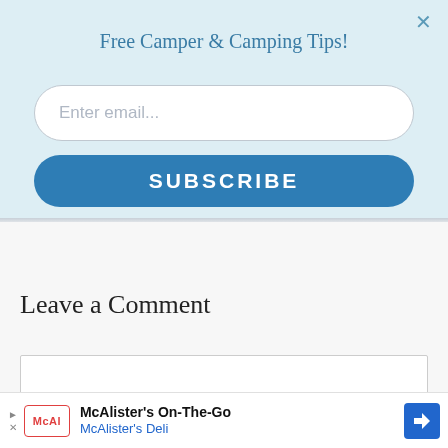Free Camper & Camping Tips!
[Figure (screenshot): Email subscription input field with placeholder text 'Enter email...' and a blue SUBSCRIBE button below it, on a light blue background panel]
Leave a Comment
[Figure (screenshot): Comment text box input area, empty, with a light gray border]
[Figure (screenshot): Advertisement banner for McAlister's On-The-Go / McAlister's Deli with logo, text, and blue direction arrow icon]